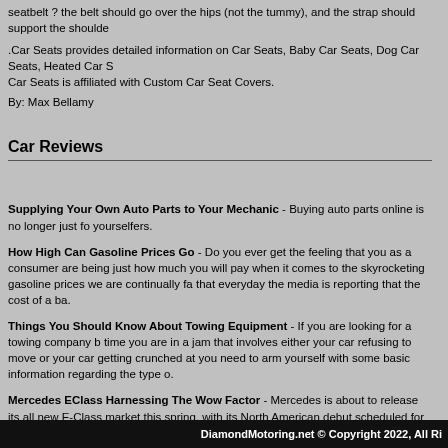seatbelt ? the belt should go over the hips (not the tummy), and the strap should support the shoulde
.Car Seats provides detailed information on Car Seats, Baby Car Seats, Dog Car Seats, Heated Car Seats is affiliated with Custom Car Seat Covers.
By: Max Bellamy
Car Reviews
Supplying Your Own Auto Parts to Your Mechanic - Buying auto parts online is no longer just fo yourselfers.
How High Can Gasoline Prices Go - Do you ever get the feeling that you as a consumer are being just how much you will pay when it comes to the skyrocketing gasoline prices we are continually fa that everyday the media is reporting that the cost of a ba.
Things You Should Know About Towing Equipment - If you are looking for a towing company b time you are in a jam that involves either your car refusing to move or your car getting crunched at you need to arm yourself with some basic information regarding the type o.
Mercedes EClass Harnessing The Wow Factor - Mercedes is about to release its all new E-Class market this spring, with its North American debut scheduled for some time in the fall.
Show Plates Anyone - Show plates are a thing of beauty and to the eyes of the owner of the car or to; they make a statement of who they are.
more...
DiamondMotoring.net © Copyright 2022, All Ri